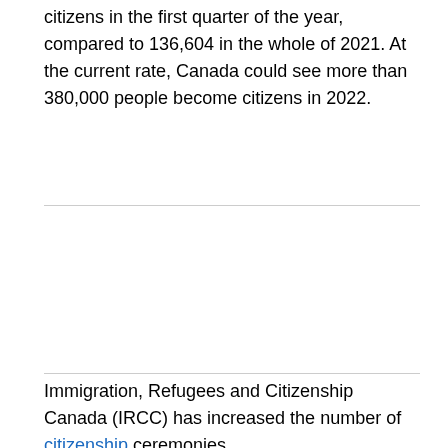citizens in the first quarter of the year, compared to 136,604 in the whole of 2021. At the current rate, Canada could see more than 380,000 people become citizens in 2022.
Immigration, Refugees and Citizenship Canada (IRCC) has increased the number of citizenship ceremonies.